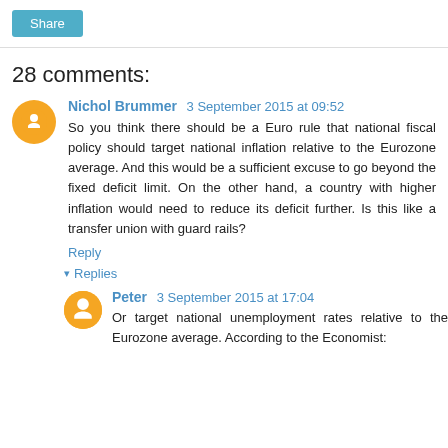Share
28 comments:
Nichol Brummer  3 September 2015 at 09:52
So you think there should be a Euro rule that national fiscal policy should target national inflation relative to the Eurozone average. And this would be a sufficient excuse to go beyond the fixed deficit limit. On the other hand, a country with higher inflation would need to reduce its deficit further. Is this like a transfer union with guard rails?
Reply
Replies
Peter  3 September 2015 at 17:04
Or target national unemployment rates relative to the Eurozone average. According to the Economist: